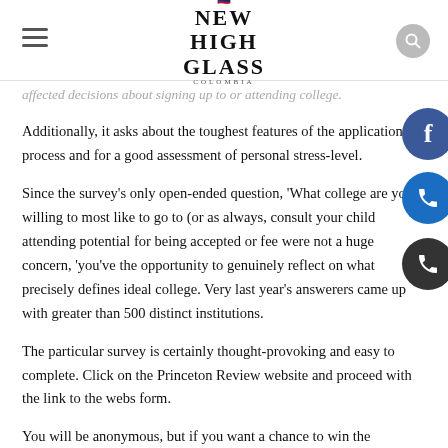NEW HIGH GLASS COLOMBIA
affected decisions about signing up to or attending college. Additionally, it asks about the toughest features of the application process and for a good assessment of personal stress-level.
Since the survey’s only open-ended question, ‘What college are you willing to most like to go to (or as always, consult your child attending potential for being accepted or fee were not a huge concern, ‘you’ve the opportunity to genuinely reflect on what precisely defines ideal college. Very last year’s answerers came up with greater than 500 distinct institutions.
The particular survey is certainly thought-provoking and easy to complete. Click on the Princeton Review website and proceed with the link to the webs form.
You will be anonymous, but if you want a chance to win the particular $1, 000 scholarship, you will need to provide some basic contact information and more about the process and students’ concerns.